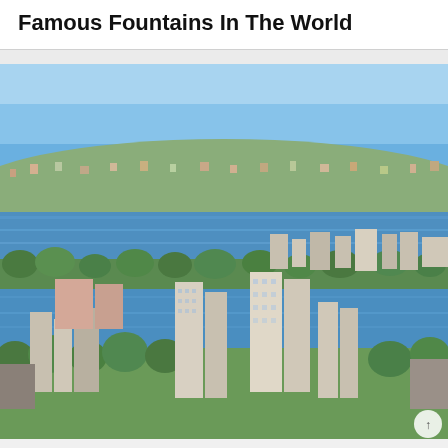Famous Fountains In The World
[Figure (photo): Aerial/elevated photograph of a city (likely Sydney, Australia) showing urban skyline with high-rise apartment buildings in the foreground, a large blue harbour/bay in the middle ground, and tree-covered suburbs with houses extending to the horizon under a clear blue sky.]